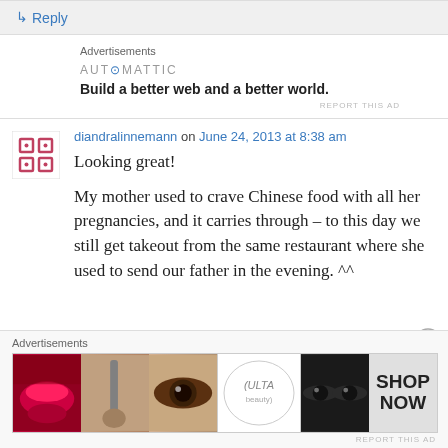↳ Reply
Advertisements
[Figure (logo): Automattic logo with tagline: Build a better web and a better world.]
REPORT THIS AD
diandralinnemann on June 24, 2013 at 8:38 am
Looking great!

My mother used to crave Chinese food with all her pregnancies, and it carries through – to this day we still get takeout from the same restaurant where she used to send our father in the evening. ^^
Advertisements
[Figure (screenshot): Ulta Beauty advertisement banner with makeup imagery and SHOP NOW text]